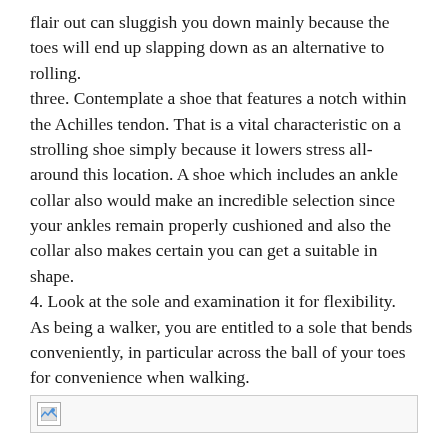flair out can sluggish you down mainly because the toes will end up slapping down as an alternative to rolling.
three. Contemplate a shoe that features a notch within the Achilles tendon. That is a vital characteristic on a strolling shoe simply because it lowers stress all-around this location. A shoe which includes an ankle collar also would make an incredible selection since your ankles remain properly cushioned and also the collar also makes certain you can get a suitable in shape.
4. Look at the sole and examination it for flexibility. As being a walker, you are entitled to a sole that bends conveniently, in particular across the ball of your toes for convenience when walking.
[Figure (other): Broken image placeholder icon]